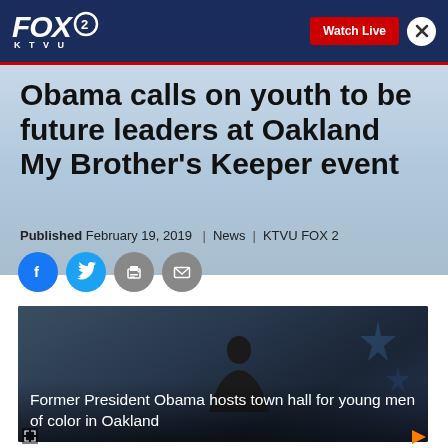FOX 2 KTVU | Watch Live
Obama calls on youth to be future leaders at Oakland My Brother's Keeper event
Published February 19, 2019 | News | KTVU FOX 2
[Figure (screenshot): Social media sharing icons: Facebook, Twitter, Print, Email]
[Figure (screenshot): Video thumbnail showing Former President Obama at town hall. Caption reads: Former President Obama hosts town hall for young men of color in Oakland]